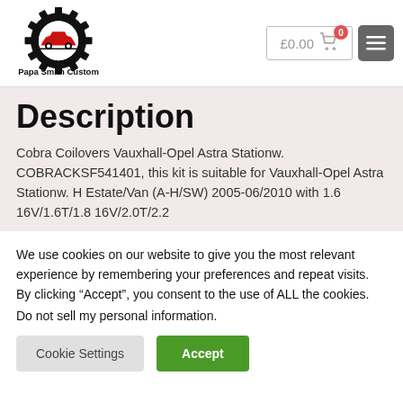[Figure (logo): Papa Smith Custom logo — gear wheel with red car silhouette inside, text 'Papa Smith Custom' below]
Description
Cobra Coilovers Vauxhall-Opel Astra Stationw. COBRACKSF541401, this kit is suitable for Vauxhall-Opel Astra Stationw. H Estate/Van (A-H/SW) 2005-06/2010 with 1.6 16V/1.6T/1.8 16V/2.0T/2.2
We use cookies on our website to give you the most relevant experience by remembering your preferences and repeat visits. By clicking “Accept”, you consent to the use of ALL the cookies.
Do not sell my personal information.
Cookie Settings | Accept